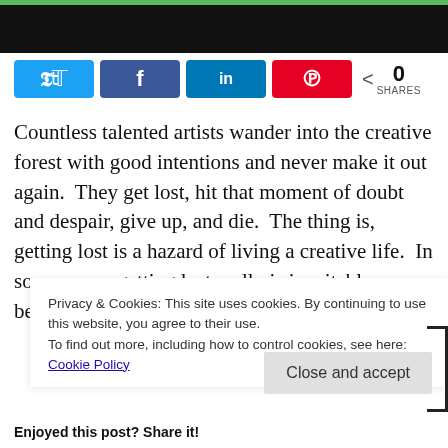[Figure (screenshot): Black header bar with green accent line at top of page]
[Figure (infographic): Social share buttons: Twitter (blue), Facebook (dark blue), LinkedIn (blue), Pinterest (red), and share count showing 0 SHARES]
Countless talented artists wander into the creative forest with good intentions and never make it out again.  They get lost, hit that moment of doubt and despair, give up, and die.  The thing is, getting lost is a hazard of living a creative life.  In some ways, getting lost really is inevitable, because the creative path is not
Privacy & Cookies: This site uses cookies. By continuing to use this website, you agree to their use.
To find out more, including how to control cookies, see here: Cookie Policy
Close and accept
Enjoyed this post? Share it!